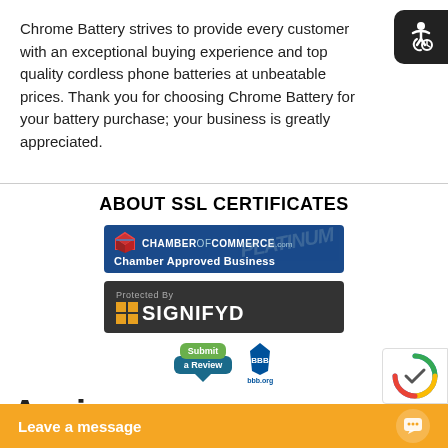Chrome Battery strives to provide every customer with an exceptional buying experience and top quality cordless phone batteries at unbeatable prices. Thank you for choosing Chrome Battery for your battery purchase; your business is greatly appreciated.
ABOUT SSL CERTIFICATES
[Figure (logo): ChamberOfCommerce.com - Chamber Approved Business badge]
[Figure (logo): Protected By SIGNIFYD badge]
[Figure (logo): Angie's List - Submit a Review badge and BBB logo]
Leave a message